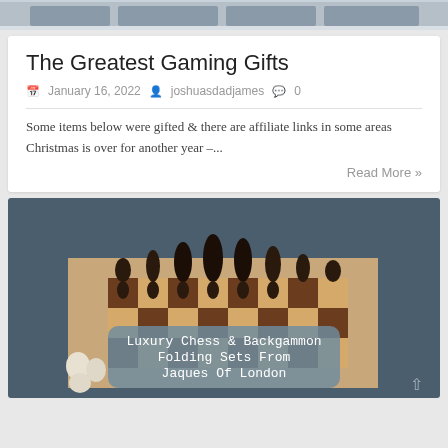[Figure (photo): Top strip showing shelves with boxes in muted blue-grey tones]
The Greatest Gaming Gifts
📅 January 16, 2022   👤 joshuasdadjames   💬 0
Some items below were gifted & there are affiliate links in some areas Christmas is over for another year –...
Read More »
[Figure (photo): Chess board with dark wooden pieces arranged for a game, with an overlay text box reading 'Luxury Chess & Backgammon Folding Sets From Jaques Of London']